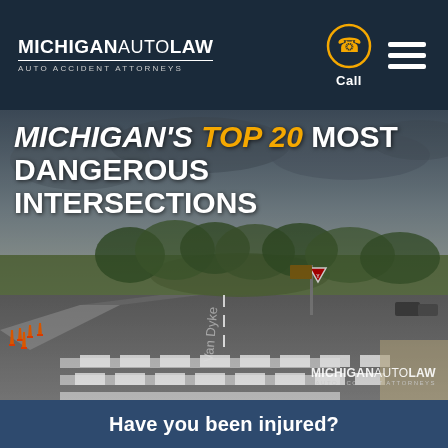[Figure (logo): MichiganAutoLaw Auto Accident Attorneys logo in white text on dark navy background, top left of header]
[Figure (illustration): Phone/call icon inside a gold circle and hamburger menu icon (three white lines), top right of header]
MICHIGAN'S TOP 20 MOST DANGEROUS INTERSECTIONS
[Figure (photo): Street-level photo of a Michigan road intersection with orange traffic cones on left, crosswalk stripes in foreground, yield sign and road signs visible, green trees under cloudy sky. Text 'Van Dyke' visible on road.]
[Figure (logo): MichiganAutoLaw Auto Accident Attorneys watermark in white, bottom right of photo]
Have you been injured?